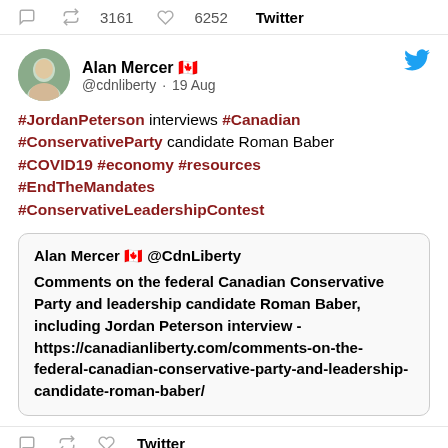↩ 3161  ♡ 6252  Twitter
Alan Mercer 🇨🇦  @cdnliberty · 19 Aug
#JordanPeterson interviews #Canadian #ConservativeParty candidate Roman Baber #COVID19 #economy #resources #EndTheMandates #ConservativeLeadershipContest
Alan Mercer 🇨🇦  @CdnLiberty
Comments on the federal Canadian Conservative Party and leadership candidate Roman Baber, including Jordan Peterson interview - https://canadianliberty.com/comments-on-the-federal-canadian-conservative-party-and-leadership-candidate-roman-baber/
Twitter